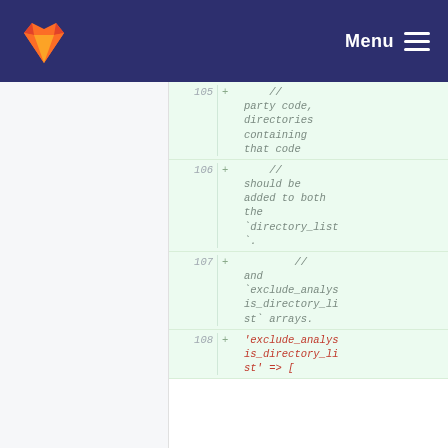Menu
105 + //  party code, directories containing that code
106 + //  should be added to both the `directory_list`.
107 + //      and `exclude_analysis_directory_list` arrays.
108 + 'exclude_analysis_directory_li st' => [